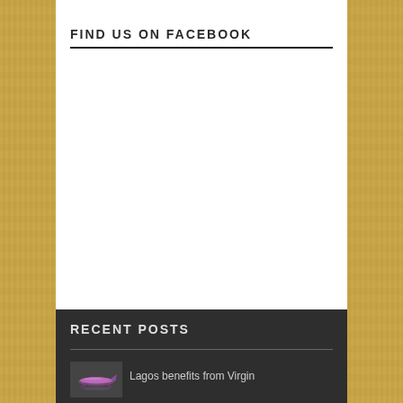FIND US ON FACEBOOK
RECENT POSTS
[Figure (photo): Thumbnail image of an airplane with purple/pink color scheme]
Lagos benefits from Virgin